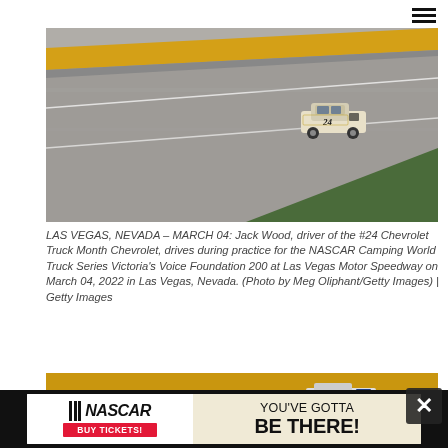MENU
[Figure (photo): Aerial view of a NASCAR truck on a banked racetrack at Las Vegas Motor Speedway. The truck bears the number 24 and is white/gold colored. The track has yellow and white striping on the concrete barrier.]
LAS VEGAS, NEVADA – MARCH 04: Jack Wood, driver of the #24 Chevrolet Truck Month Chevrolet, drives during practice for the NASCAR Camping World Truck Series Victoria's Voice Foundation 200 at Las Vegas Motor Speedway on March 04, 2022 in Las Vegas, Nevada. (Photo by Meg Oliphant/Getty Images) | Getty Images
[Figure (photo): Second photo showing NASCAR trucks racing on the banked Las Vegas Motor Speedway track, with yellow curbing visible and multiple trucks in frame.]
[Figure (other): NASCAR advertisement banner: NASCAR logo with 'BUY TICKETS!' button on left; 'YOU'VE GOTTA BE THERE!' text on right with yellow/cream background.]